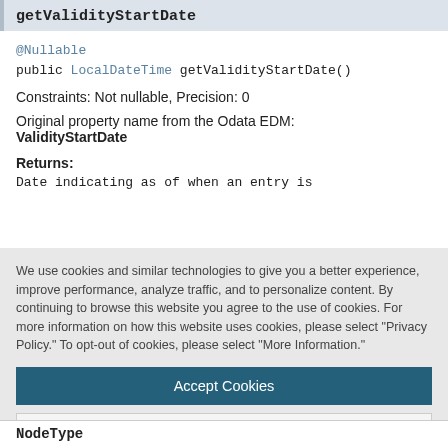getValidityStartDate
@Nullable
public LocalDateTime getValidityStartDate()
Constraints: Not nullable, Precision: 0
Original property name from the Odata EDM: ValidityStartDate
Returns:
Date indicating as of when an entry is
We use cookies and similar technologies to give you a better experience, improve performance, analyze traffic, and to personalize content. By continuing to browse this website you agree to the use of cookies. For more information on how this website uses cookies, please select "Privacy Policy." To opt-out of cookies, please select "More Information."
Accept Cookies
More Information
Privacy Policy | Powered by: TrustArc
NodeType